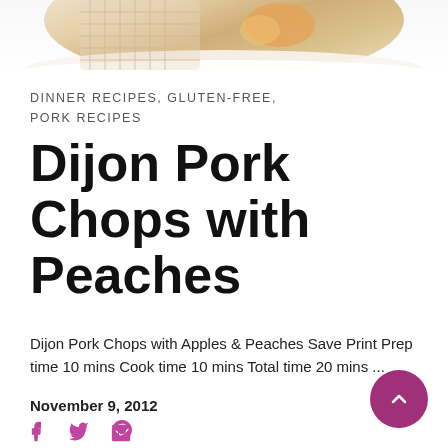[Figure (photo): Partial photo of Dijon Pork Chops with Peaches on a white decorative plate, cropped at top of page]
DINNER RECIPES, GLUTEN-FREE, PORK RECIPES
Dijon Pork Chops with Peaches
Dijon Pork Chops with Apples & Peaches Save Print Prep time 10 mins Cook time 10 mins Total time 20 mins ...
November 9, 2012